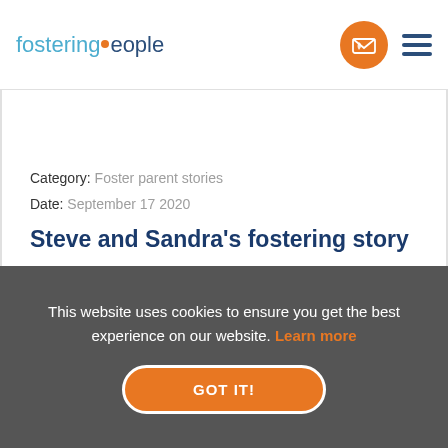fosteringpeople
Category: Foster parent stories
Date: September 17 2020
Steve and Sandra's fostering story
This website uses cookies to ensure you get the best experience on our website. Learn more
GOT IT!